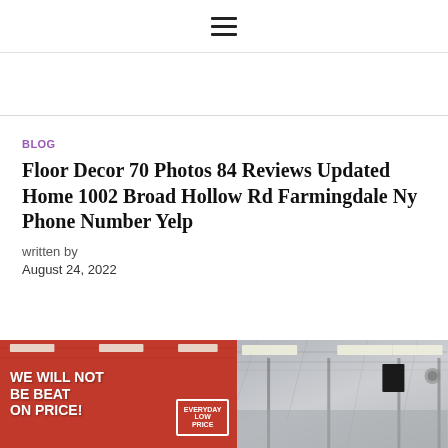≡ (hamburger menu icon)
BLOG
Floor Decor 70 Photos 84 Reviews Updated Home 1002 Broad Hollow Rd Farmingdale Ny Phone Number Yelp
written by
August 24, 2022
[Figure (photo): Interior of a Floor Decor store showing a large red banner reading 'WE WILL NOT BE BEAT ON PRICE!' and another banner reading 'EVERYDAY LOW PRICE', warehouse-style ceiling with fluorescent lighting and metal shelving visible.]